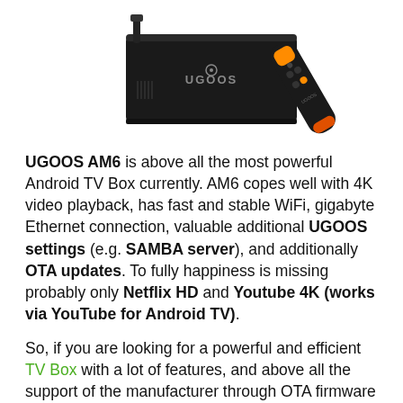[Figure (photo): Photo of UGOOS AM6 Android TV Box (black rectangular device with UGOOS logo) and a black/orange remote control on a white background]
UGOOS AM6 is above all the most powerful Android TV Box currently. AM6 copes well with 4K video playback, has fast and stable WiFi, gigabyte Ethernet connection, valuable additional UGOOS settings (e.g. SAMBA server), and additionally OTA updates. To fully happiness is missing probably only Netflix HD and Youtube 4K (works via YouTube for Android TV).
So, if you are looking for a powerful and efficient TV Box with a lot of features, and above all the support of the manufacturer through OTA firmware updates, then you should definitely consider buying UGOOS AM6. Considering the features and potential of the AM6 TV Box...